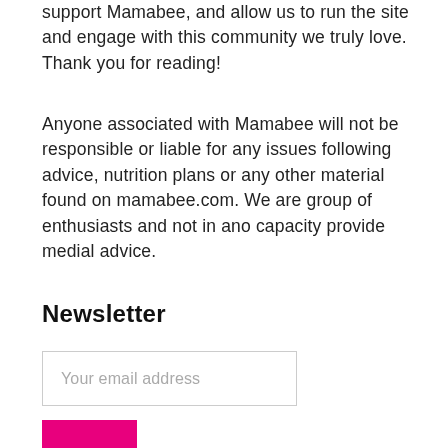support Mamabee, and allow us to run the site and engage with this community we truly love. Thank you for reading!
Anyone associated with Mamabee will not be responsible or liable for any issues following advice, nutrition plans or any other material found on mamabee.com. We are group of enthusiasts and not in ano capacity provide medial advice.
Newsletter
Your email address
[Figure (other): Pink subscribe button, partially visible at bottom of page]